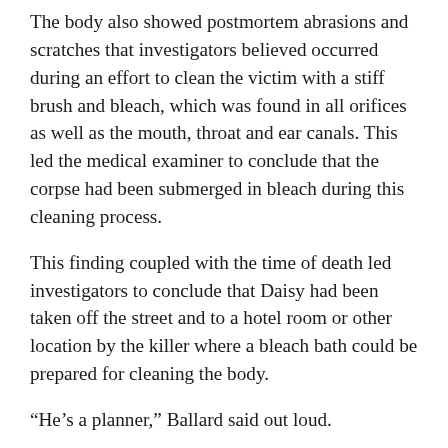The body also showed postmortem abrasions and scratches that investigators believed occurred during an effort to clean the victim with a stiff brush and bleach, which was found in all orifices as well as the mouth, throat and ear canals. This led the medical examiner to conclude that the corpse had been submerged in bleach during this cleaning process.
This finding coupled with the time of death led investigators to conclude that Daisy had been taken off the street and to a hotel room or other location by the killer where a bleach bath could be prepared for cleaning the body.
“He’s a planner,” Ballard said out loud.
The conclusions about the bleach led the original investigators to spend much of their time during the initial days of the investigation on a thorough canvass of